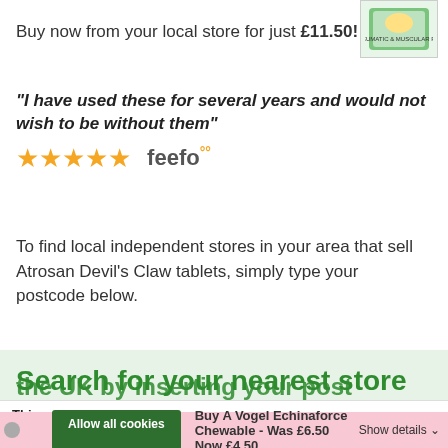[Figure (photo): Product image of Atrosan Devil's Claw tablets package, green and pink box]
Buy now from your local store for just £11.50!
"I have used these for several years and would not wish to be without them"
[Figure (other): Five gold stars rating followed by Feefo logo]
To find local independent stores in your area that sell Atrosan Devil's Claw tablets, simply type your postcode below.
Search for your nearest store in the UK by inserting your post code below
This website uses cookies
We use cookies to give you the best online experience. Please let us know if you agree to all of these cookies.
Allow all cookies
Buy A Vogel Echinaforce Chewable - Was £6.50 Now £4.50
Show details